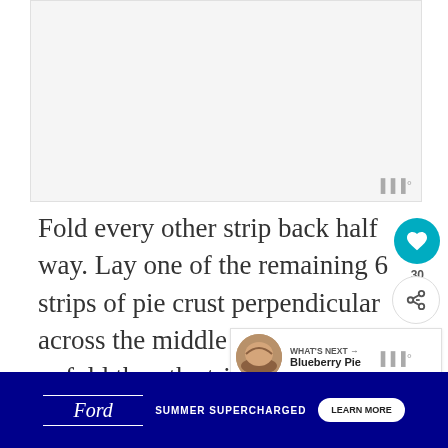[Figure (photo): Photo placeholder of pie with lattice crust]
Fold every other strip back half way. Lay one of the remaining 6 strips of pie crust perpendicular across the middle of the pie and unfold the other strips of crust so they lay across the perpendicular strip that was just placed on the pie.
Now, fold the other 3 strips back and lay the next pe...
[Figure (infographic): Ad banner: Ford Summer Supercharged with Learn More button]